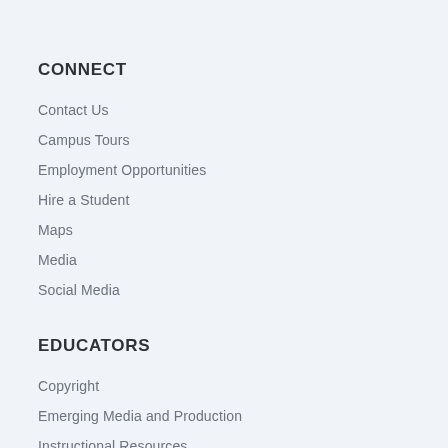CONNECT
Contact Us
Campus Tours
Employment Opportunities
Hire a Student
Maps
Media
Social Media
EDUCATORS
Copyright
Emerging Media and Production
Instructional Resources
Learning Technologies